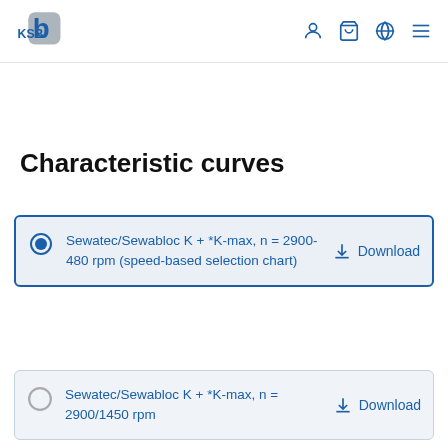KSB logo and navigation icons
Characteristic curves
Sewatec/Sewabloc K + *K-max, n = 2900-480 rpm (speed-based selection chart) Download
Sewatec/Sewabloc K + *K-max, n = 2900/1450 rpm Download